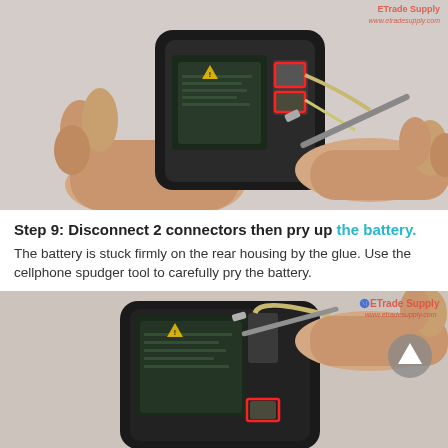[Figure (photo): Photo showing hands holding an iPhone with its back open, battery and internal connectors visible with red highlight boxes on two connectors; another hand holds a spudger tool approaching the device. ETrade Supply watermark in upper right.]
Step 9: Disconnect 2 connectors then pry up the battery.
The battery is stuck firmly on the rear housing by the glue. Use the cellphone spudger tool to carefully pry the battery.
[Figure (photo): Photo showing hands prying up the battery from an open iPhone using a spudger tool, with a red highlight box on a connector. ETrade Supply watermark and scroll-up arrow button visible in upper right area.]